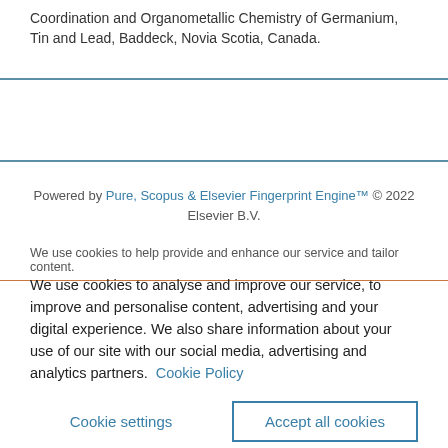Coordination and Organometallic Chemistry of Germanium, Tin and Lead, Baddeck, Novia Scotia, Canada.
Powered by Pure, Scopus & Elsevier Fingerprint Engine™ © 2022 Elsevier B.V.
We use cookies to help provide and enhance our service and tailor content.
We use cookies to analyse and improve our service, to improve and personalise content, advertising and your digital experience. We also share information about your use of our site with our social media, advertising and analytics partners.  Cookie Policy
Cookie settings
Accept all cookies